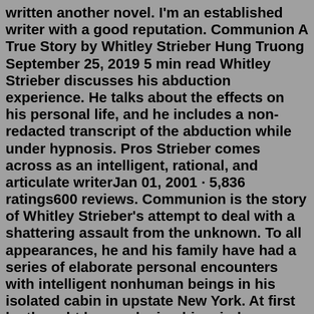written another novel. I'm an established writer with a good reputation. Communion A True Story by Whitley Strieber Hung Truong September 25, 2019 5 min read Whitley Strieber discusses his abduction experience. He talks about the effects on his personal life, and he includes a non-redacted transcript of the abduction while under hypnosis. Pros Strieber comes across as an intelligent, rational, and articulate writerJan 01, 2001 · 5,836 ratings600 reviews. Communion is the story of Whitley Strieber's attempt to deal with a shattering assault from the unknown. To all appearances, he and his family have had a series of elaborate personal encounters with intelligent nonhuman beings in his isolated cabin in upstate New York. At first he thought he was losing his mind. Communion - Whitley Strieber. dukederichleau Alien abduction, aliens, cryptozoology, fantastic realism, Whitley Strieber February 3, 2016. Avon - 1988. Wow, what an utterly ridiculous book. Although the accounts herein are presented as fact, this book is often listed as fiction...